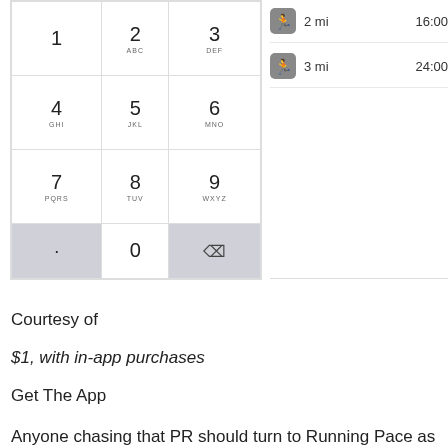[Figure (screenshot): Phone keypad UI showing numeric keys 0-9 with letter labels (ABC, DEF, GHI, JKL, MNO, PQRS, TUV, WXYZ), a dot key, and a backspace key. To the right are two running activity rows: '2 mi' at '16:00' and '3 mi' at '24:00'.]
Courtesy of
$1, with in-app purchases
Get The App
Anyone chasing that PR should turn to Running Pace as their training BFF. It helps you figure out your time per mile, so you easily hit that end goal. “If you’re training for an upcoming race in a specific finish time, then